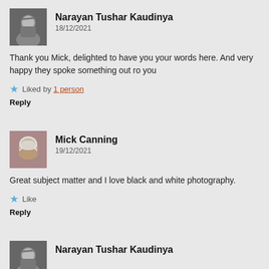Narayan Tushar Kaudinya
18/12/2021
Thank you Mick, delighted to have you your words here. And very happy they spoke something out ro you
Liked by 1 person
Reply
Mick Canning
19/12/2021
Great subject matter and I love black and white photography.
Like
Reply
Narayan Tushar Kaudinya